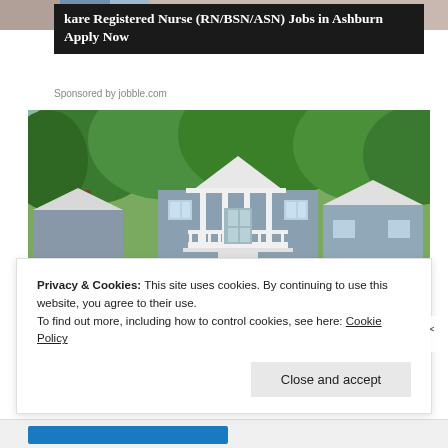[Figure (screenshot): Top strip showing partial image (cropped person/background at very top of page)]
kare Registered Nurse (RN/BSN/ASN) Jobs in Ashburn Apply Now
Sponsored by jobble.com
[Figure (photo): Photograph of a light blue/gray craftsman-style house with white trim, front porch with columns, surrounded by large green trees]
Privacy & Cookies: This site uses cookies. By continuing to use this website, you agree to their use.
To find out more, including how to control cookies, see here: Cookie Policy
Close and accept